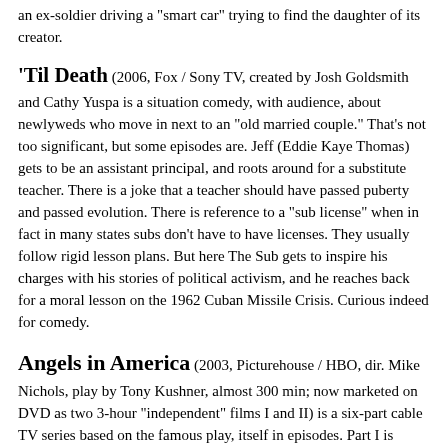an ex-soldier driving a "smart car" trying to find the daughter of its creator.
'Til Death (2006, Fox / Sony TV, created by Josh Goldsmith and Cathy Yuspa is a situation comedy, with audience, about newlyweds who move in next to an "old married couple." That's not too significant, but some episodes are. Jeff (Eddie Kaye Thomas) gets to be an assistant principal, and roots around for a substitute teacher. There is a joke that a teacher should have passed puberty and passed evolution. There is reference to a "sub license" when in fact in many states subs don't have to have licenses. They usually follow rigid lesson plans. But here The Sub gets to inspire his charges with his stories of political activism, and he reaches back for a moral lesson on the 1962 Cuban Missile Crisis. Curious indeed for comedy.
Angels in America (2003, Picturehouse / HBO, dir. Mike Nichols, play by Tony Kushner, almost 300 min; now marketed on DVD as two 3-hour "independent" films I and II) is a six-part cable TV series based on the famous play, itself in episodes. Part I is called "The Millennium Approaches" and is in three parts: Bad News, In Vitrio, and The Messenger. HBO pulled out all the stops, with an A-list cast (now rather common with indie films on major social issues), to produce an intimate play tracing